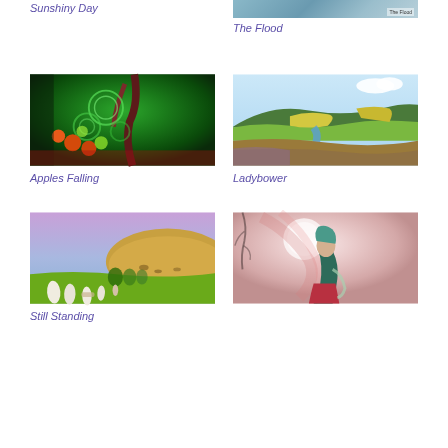Sunshiny Day
The Flood
[Figure (illustration): Colorful painting of apples falling from a tree with swirling green and dark background]
Apples Falling
[Figure (illustration): Landscape painting of Ladybower reservoir with rolling hills, river and yellow fields]
Ladybower
[Figure (illustration): Painting of standing stones in a green landscape with an orange hill and purple sky]
Still Standing
[Figure (illustration): Painting of a figure in teal and red garments against a swirling pink and white background]